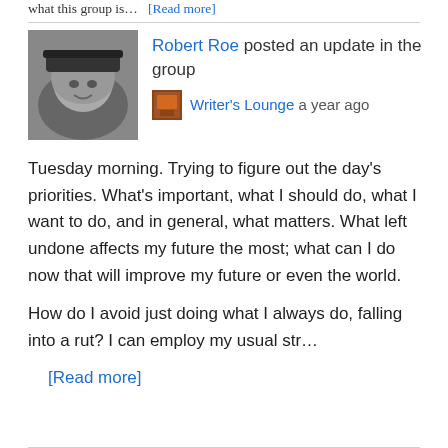what this group is… [Read more]
Robert Roe posted an update in the group
Writer's Lounge a year ago
Tuesday morning. Trying to figure out the day's priorities. What's important, what I should do, what I want to do, and in general, what matters. What left undone affects my future the most; what can I do now that will improve my future or even the world.

How do I avoid just doing what I always do, falling into a rut? I can employ my usual str…
[Read more]